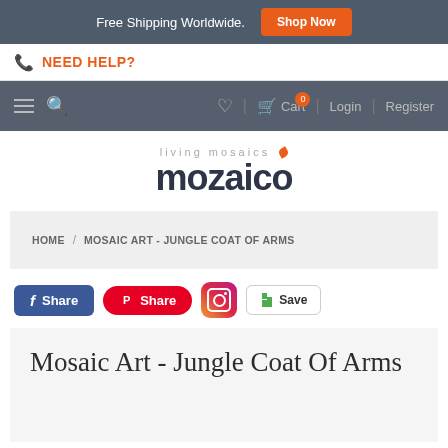Free Shipping Worldwide. Shop Now
NEED HELP?
HOME / MOSAIC ART - JUNGLE COAT OF ARMS
[Figure (logo): living mosaics mozaico logo with orange leaf accent]
HOME / MOSAIC ART - JUNGLE COAT OF ARMS
Share  Share  Save
Mosaic Art - Jungle Coat Of Arms